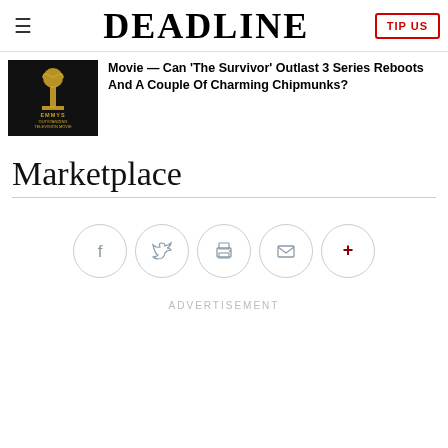DEADLINE
Movie — Can 'The Survivor' Outlast 3 Series Reboots And A Couple Of Charming Chipmunks?
Marketplace
[Figure (infographic): Social sharing buttons: Facebook, Twitter, Print, Email, More (+)]
ADVERTISEMENT